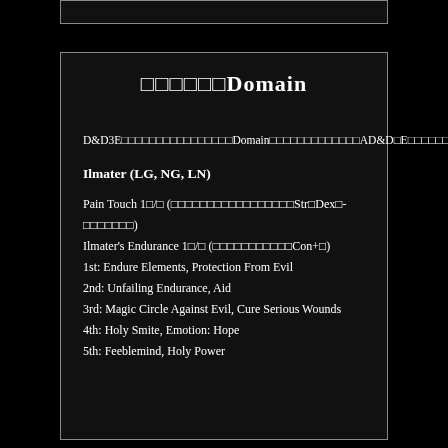□□□□□□Domain
D&D3E□□□□□□□□□□□□□□□□Domain□□□□□□□□□□□□□AD&D□E□□□□□□□Sphere□□□□□□□□□□□□□□□□□□□□□□□□□□□□□□□□□□□□□□□□□□□□Domain□□□□□□□□□□□□□□□□□□□□□□□□□
Ilmater (LG, NG, LN)
Pain Touch 1□/□ (□□□□□□□□□□□□□□□□□Str□Dex□-□□□□□□□)
Ilmater's Endurance 1□/□ (□□□□□□□□□□□Con+□)
1st: Endure Elements, Protection From Evil
2nd: Unfailing Endurance, Aid
3rd: Magic Circle Against Evil, Cure Serious Wounds
4th: Holy Smite, Emotion: Hope
5th: Feeblemind, Holy Power